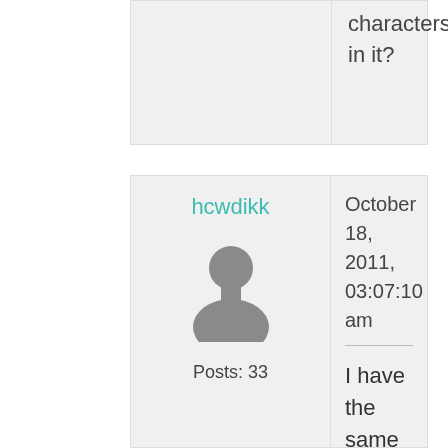characters in it?
hcwdikk
[Figure (illustration): Default grey silhouette avatar icon of a person]
Posts: 33
October 18, 2011, 03:07:10 am
I have the same problem. I had it before, but they